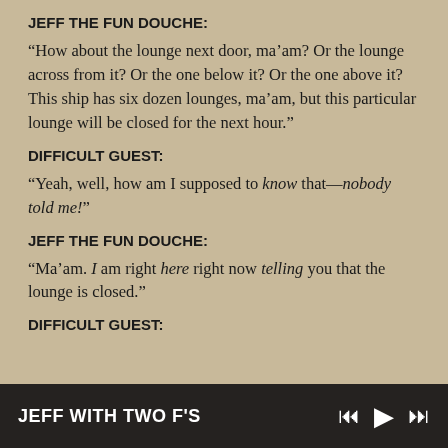JEFF THE FUN DOUCHE:
“How about the lounge next door, ma’am? Or the lounge across from it? Or the one below it? Or the one above it? This ship has six dozen lounges, ma’am, but this particular lounge will be closed for the next hour.”
DIFFICULT GUEST:
“Yeah, well, how am I supposed to know that—nobody told me!”
JEFF THE FUN DOUCHE:
“Ma’am. I am right here right now telling you that the lounge is closed.”
DIFFICULT GUEST:
JEFF WITH TWO F'S